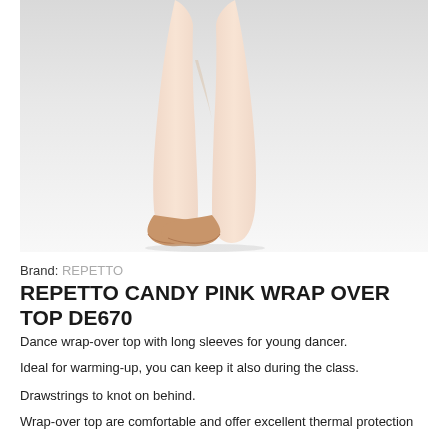[Figure (photo): Ballet dancer's legs and feet wearing ballet slippers, photographed from mid-thigh down against a light grey/white background.]
Brand: REPETTO
REPETTO CANDY PINK WRAP OVER TOP DE670
Dance wrap-over top with long sleeves for young dancer.
Ideal for warming-up, you can keep it also during the class.
Drawstrings to knot on behind.
Wrap-over top are comfortable and offer excellent thermal protection